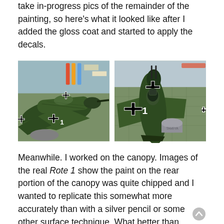take in-progress pics of the remainder of the painting, so here's what it looked like after I added the gloss coat and started to apply the decals.
[Figure (photo): Two photos of a green WWII scale model aircraft (Focke-Wulf Fw 190) with German Luftwaffe markings including black crosses (Balkenkreuz) and the number '1', showing the decals applied after gloss coat. Left photo shows top/side view, right photo shows another angle.]
Meanwhile. I worked on the canopy. Images of the real Rote 1 show the paint on the rear portion of the canopy was quite chipped and I wanted to replicate this somewhat more accurately than with a silver pencil or some other surface technique. What better than metal?